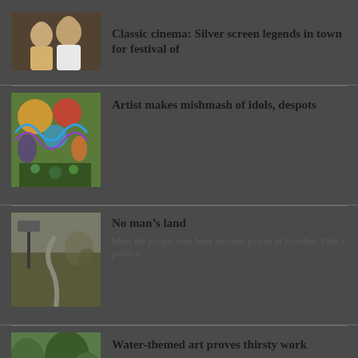[Figure (photo): Two people smiling, a woman and a man, head shots side by side]
Classic cinema: Silver screen legends in town for festival of
[Figure (photo): Colorful artwork with floral and figurative patterns in bright colors]
Artist makes mishmash of idols, despots
[Figure (photo): Outdoor scene with a street sign and winding path, grey tones]
No man’s land
Meet the people who have become pawns in Freedom Park’s politics
[Figure (photo): People outdoors in green surroundings, water activity or art event]
Water-themed art proves thirsty work